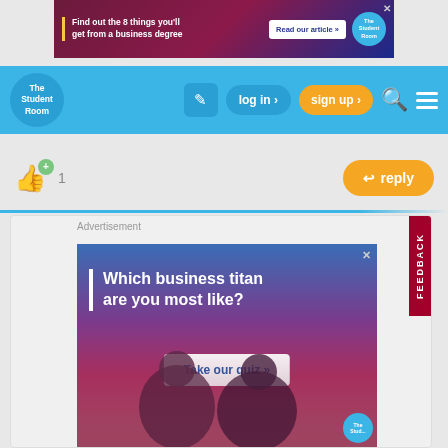[Figure (screenshot): Top banner advertisement: dark red/blue gradient background with text 'Find out the 8 things you’ll get from a business degree', a 'Read our article »' button, and The Student Room logo. Close X in corner.]
[Figure (screenshot): Navigation bar with The Student Room logo, edit icon, log in button, sign up button (orange), search icon, and hamburger menu on blue background.]
[Figure (screenshot): Like button with thumbs up icon and +1 badge showing count of 1, and orange reply button on the right.]
[Figure (screenshot): Advertisement section containing inner ad with blue-to-pink gradient background, text 'Which business titan are you most like?', 'Take our quiz »' button, and two people in background. FEEDBACK tab on right side.]